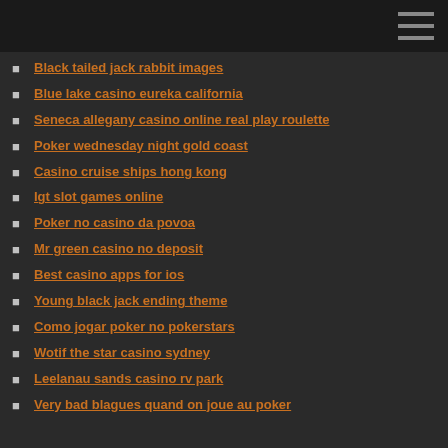Black tailed jack rabbit images
Blue lake casino eureka california
Seneca allegany casino online real play roulette
Poker wednesday night gold coast
Casino cruise ships hong kong
Igt slot games online
Poker no casino da povoa
Mr green casino no deposit
Best casino apps for ios
Young black jack ending theme
Como jogar poker no pokerstars
Wotif the star casino sydney
Leelanau sands casino rv park
Very bad blagues quand on joue au poker